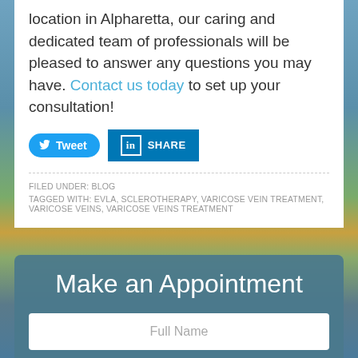location in Alpharetta, our caring and dedicated team of professionals will be pleased to answer any questions you may have. Contact us today to set up your consultation!
[Figure (other): Twitter Tweet button and LinkedIn Share button]
FILED UNDER: BLOG
TAGGED WITH: EVLA, SCLEROTHERAPY, VARICOSE VEIN TREATMENT, VARICOSE VEINS, VARICOSE VEINS TREATMENT
[Figure (photo): Background cityscape photo with autumn trees and buildings]
Make an Appointment
Full Name